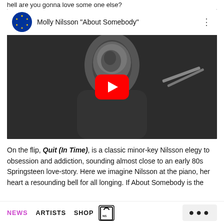hell are you gonna love some one else?
[Figure (screenshot): YouTube video embed showing Molly Nilsson 'About Somebody' with EU flag icon, black and white thumbnail of a person, and red play button]
On the flip, Quit (In Time), is a classic minor-key Nilsson elegy to obsession and addiction, sounding almost close to an early 80s Springsteen love-story. Here we imagine Nilsson at the piano, her heart a resounding bell for all longing. If About Somebody is the
NEWS   ARTISTS   SHOP